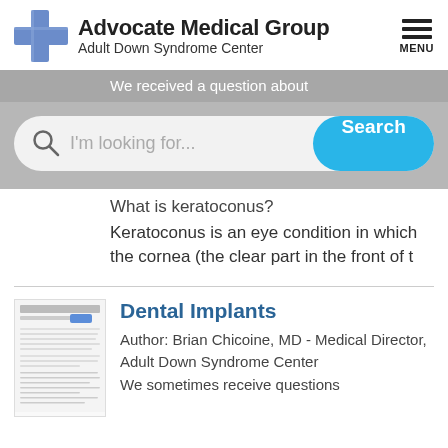[Figure (logo): Advocate Medical Group logo with blue cross and text 'Advocate Medical Group / Adult Down Syndrome Center']
[Figure (screenshot): Search bar overlay with 'I'm looking for...' placeholder and 'Search' button]
We received a question about
What is keratoconus?
Keratoconus is an eye condition in which the cornea (the clear part in the front of t
[Figure (screenshot): Thumbnail image of a printed article about Dental Implants]
Dental Implants
Author: Brian Chicoine, MD - Medical Director, Adult Down Syndrome Center
We sometimes receive questions